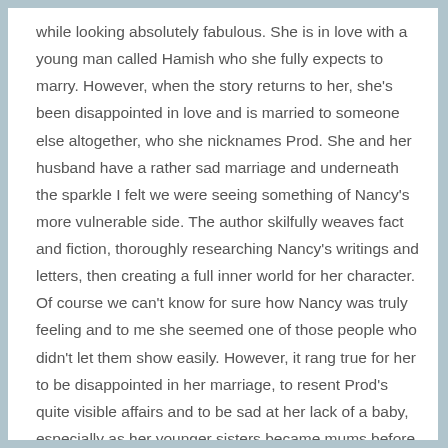while looking absolutely fabulous. She is in love with a young man called Hamish who she fully expects to marry. However, when the story returns to her, she's been disappointed in love and is married to someone else altogether, who she nicknames Prod. She and her husband have a rather sad marriage and underneath the sparkle I felt we were seeing something of Nancy's more vulnerable side. The author skilfully weaves fact and fiction, thoroughly researching Nancy's writings and letters, then creating a full inner world for her character. Of course we can't know for sure how Nancy was truly feeling and to me she seemed one of those people who didn't let them show easily. However, it rang true for her to be disappointed in her marriage, to resent Prod's quite visible affairs and to be sad at her lack of a baby, especially as her younger sisters became mums before her. The journey she took as a woman was moving